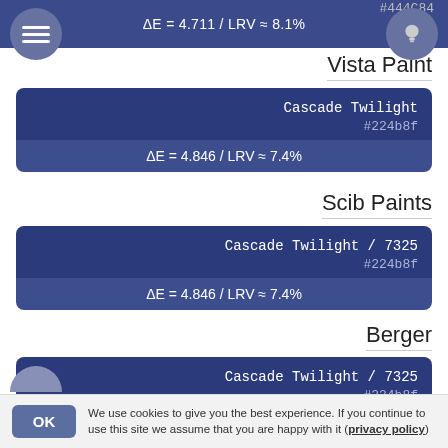#444C84
ΔE = 4.711 / LRV ≈ 8.1%
Vista Paint
Cascade Twilight
#224b8f
ΔE = 4.846 / LRV ≈ 7.4%
Scib Paints
Cascade Twilight / 7325
#224b8f
ΔE = 4.846 / LRV ≈ 7.4%
Berger
Cascade Twilight / 7325
#224b8f
ΔE = 4.846 / LRV ≈ 7.4%
Otokar
We use cookies to give you the best experience. If you continue to use this site we assume that you are happy with it (privacy policy)